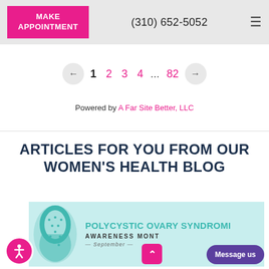MAKE APPOINTMENT | (310) 652-5052
1 2 3 4 ... 82
Powered by A Far Site Better, LLC
ARTICLES FOR YOU FROM OUR WOMEN'S HEALTH BLOG
[Figure (photo): Teal awareness ribbon with polycystic pattern. Text reads: POLYCYSTIC OVARY SYNDROME AWARENESS MONTH September]